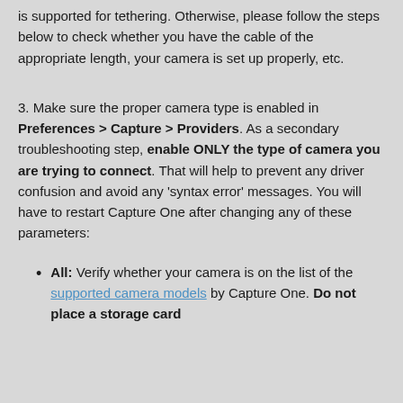is supported for tethering. Otherwise, please follow the steps below to check whether you have the cable of the appropriate length, your camera is set up properly, etc.
3. Make sure the proper camera type is enabled in Preferences > Capture > Providers. As a secondary troubleshooting step, enable ONLY the type of camera you are trying to connect. That will help to prevent any driver confusion and avoid any 'syntax error' messages. You will have to restart Capture One after changing any of these parameters:
All: Verify whether your camera is on the list of the supported camera models by Capture One. Do not place a storage card